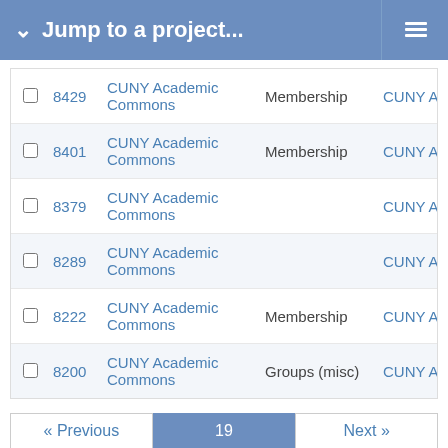Jump to a project...
|  | ID | Project | Tracker | Assignee |
| --- | --- | --- | --- | --- |
|  | 8429 | CUNY Academic Commons | Membership | CUNY A... |
|  | 8401 | CUNY Academic Commons | Membership | CUNY A... |
|  | 8379 | CUNY Academic Commons |  | CUNY A... |
|  | 8289 | CUNY Academic Commons |  | CUNY A... |
|  | 8222 | CUNY Academic Commons | Membership | CUNY A... |
|  | 8200 | CUNY Academic Commons | Groups (misc) | CUNY A... |
« Previous  19  Next »
(451-475/524) Per page: 25, 50, 100
Also available in: Atom | CSV | PDF
Powered by Redmine © 2006-2022 Jean-Philippe Lang